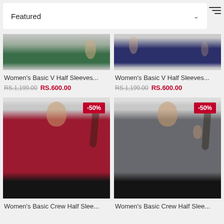Featured
[Figure (photo): Partial view of woman wearing dark green V-neck half sleeve top]
Women's Basic V Half Sleeves...
RS.1,199.00  RS.600.00
[Figure (photo): Partial view of woman wearing navy blue V-neck half sleeve top]
Women's Basic V Half Sleeves...
RS.1,199.00  RS.600.00
[Figure (photo): Woman wearing red basic crew neck half sleeve t-shirt, -50% discount badge]
Women's Basic Crew Half Slee...
[Figure (photo): Woman wearing grey basic crew neck half sleeve t-shirt, -50% discount badge]
Women's Basic Crew Half Slee...